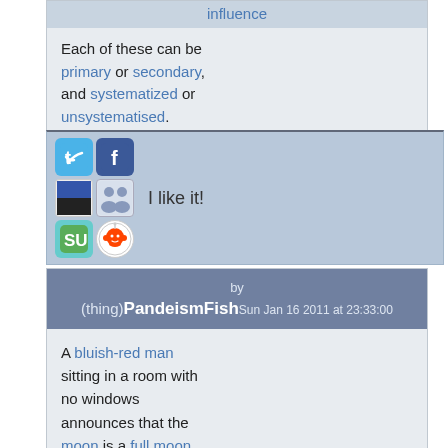influence
Each of these can be primary or secondary, and systematized or unsystematised.
[Figure (infographic): Social sharing bar with Twitter, Facebook, Delicious, Friends, StumbleUpon, Reddit icons and 'I like it!' text]
by (thing)PandeismFish Sun Jan 16 2011 at 23:33:00
A bluish-red man sitting in a room with no windows announces that the moon is a full moon tonight. And as it happens, there is indeed a full moon tonight, but the bluish-red man has